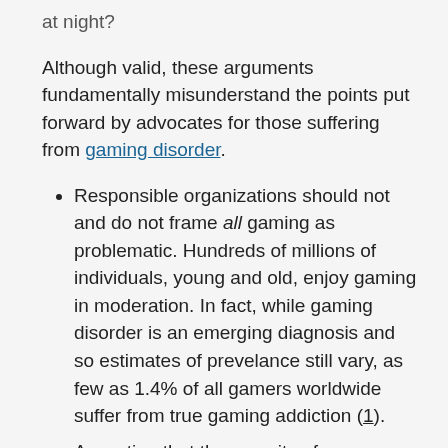at night?
Although valid, these arguments fundamentally misunderstand the points put forward by advocates for those suffering from gaming disorder.
Responsible organizations should not and do not frame all gaming as problematic. Hundreds of millions of individuals, young and old, enjoy gaming in moderation. In fact, while gaming disorder is an emerging diagnosis and so estimates of prevelance still vary, as few as 1.4% of all gamers worldwide suffer from true gaming addiction (1).
Accepting that the severity of one